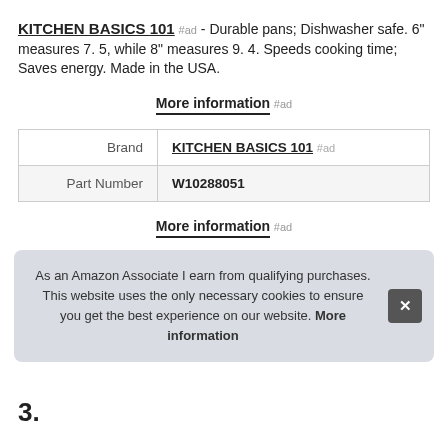KITCHEN BASICS 101 #ad - Durable pans; Dishwasher safe. 6" measures 7. 5, while 8" measures 9. 4. Speeds cooking time; Saves energy. Made in the USA.
More information #ad
|  |  |
| --- | --- |
| Brand | KITCHEN BASICS 101 #ad |
| Part Number | W10288051 |
More information #ad
As an Amazon Associate I earn from qualifying purchases. This website uses the only necessary cookies to ensure you get the best experience on our website. More information